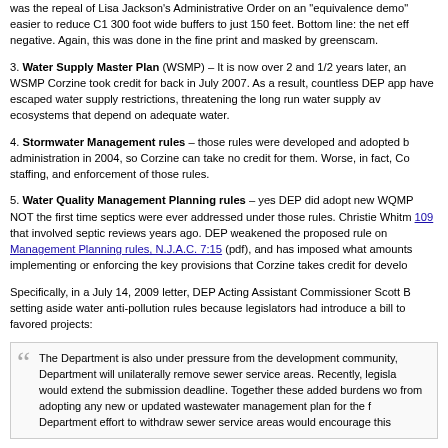was the repeal of Lisa Jackson's Administrative Order on an 'equivalence demo' easier to reduce C1 300 foot wide buffers to just 150 feet. Bottom line: the net eff negative. Again, this was done in the fine print and masked by greenscam.
3. Water Supply Master Plan (WSMP) – It is now over 2 and 1/2 years later, an WSMP Corzine took credit for back in July 2007. As a result, countless DEP app have escaped water supply restrictions, threatening the long run water supply av ecosystems that depend on adequate water.
4. Stormwater Management rules – those rules were developed and adopted b administration in 2004, so Corzine can take no credit for them. Worse, in fact, Co staffing, and enforcement of those rules.
5. Water Quality Management Planning rules – yes DEP did adopt new WQMP NOT the first time septics were ever addressed under those rules. Christie Whitm 109 that involved septic reviews years ago. DEP weakened the proposed rule on Management Planning rules, N.J.A.C. 7:15 (pdf), and has imposed what amounts implementing or enforcing the key provisions that Corzine takes credit for develo
Specifically, in a July 14, 2009 letter, DEP Acting Assistant Commissioner Scott B setting aside water anti-pollution rules because legislators had introduce a bill to favored projects:
The Department is also under pressure from the development community, Department will unilaterally remove sewer service areas. Recently, legisla would extend the submission deadline. Together these added burdens wo from adopting any new or updated wastewater management plan for the f Department effort to withdraw sewer service areas would encourage this